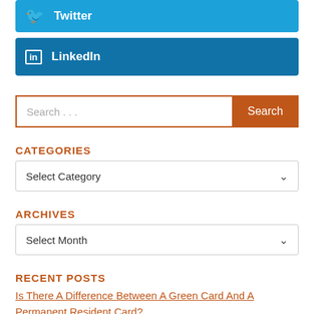[Figure (other): Twitter social share button (light blue background, Twitter bird icon, text 'Twitter')]
[Figure (other): LinkedIn social share button (dark blue background, 'in' icon, text 'LinkedIn')]
[Figure (other): Search bar with orange border and orange 'Search' button]
CATEGORIES
[Figure (other): Dropdown selector showing 'Select Category']
ARCHIVES
[Figure (other): Dropdown selector showing 'Select Month']
RECENT POSTS
Is There A Difference Between A Green Card And A Permanent Resident Card?